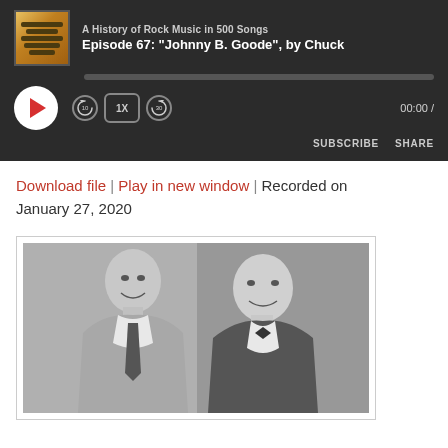[Figure (screenshot): Podcast player widget for 'A History of Rock Music in 500 Songs', Episode 67: "Johnny B. Goode", by Chuck. Dark background player with play button, progress bar, speed controls, time display, subscribe and share buttons.]
Download file | Play in new window | Recorded on January 27, 2020
[Figure (photo): Black and white photograph of two men smiling, one wearing a suit jacket with a tie, the other in a tuxedo with a bow tie.]